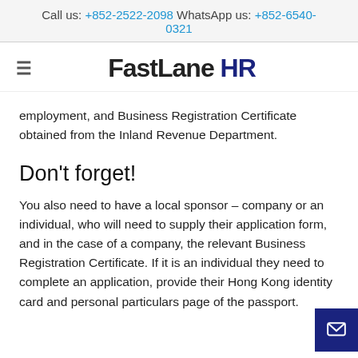Call us: +852-2522-2098 WhatsApp us: +852-6540-0321
[Figure (logo): FastLane HR logo with hamburger menu icon on the left]
employment, and Business Registration Certificate obtained from the Inland Revenue Department.
Don't forget!
You also need to have a local sponsor – company or an individual, who will need to supply their application form, and in the case of a company, the relevant Business Registration Certificate. If it is an individual they need to complete an application, provide their Hong Kong identity card and personal particulars page of the passport.